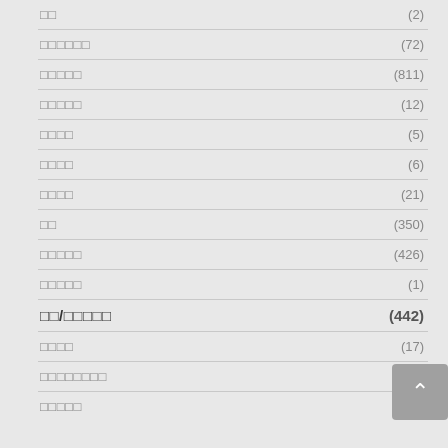□□ (2)
□□□□□□ (72)
□□□□□ (811)
□□□□□ (12)
□□□□ (5)
□□□□ (6)
□□□□ (21)
□□ (350)
□□□□□ (426)
□□□□□ (1)
□□/□□□□□ (442)
□□□□ (17)
□□□□□□□□ (4)
□□□□□ (1)